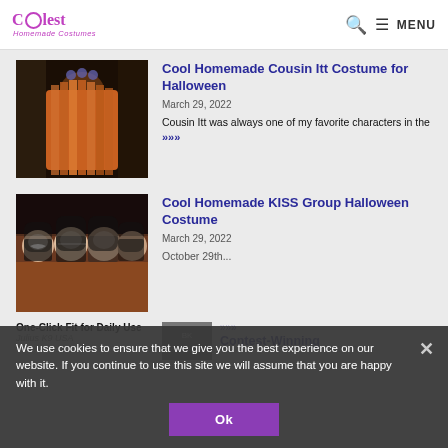Coolest Homemade Costumes — MENU
[Figure (photo): Photo of Cousin Itt costume — person covered in long orange/red hair from head to toe, standing in a room]
Cool Homemade Cousin Itt Costume for Halloween
March 29, 2022
Cousin Itt was always one of my favorite characters in the »»»
[Figure (photo): Group photo of four people dressed as KISS band members with full face makeup and costumes]
Cool Homemade KISS Group Halloween Costume
March 29, 2022
October 29th ... »»»
We use cookies to ensure that we give you the best experience on our website. If you continue to use this site we will assume that you are happy with it.
Ok
One-Click Fit for Daily Use
Julius K9 USA
Contest-Winning